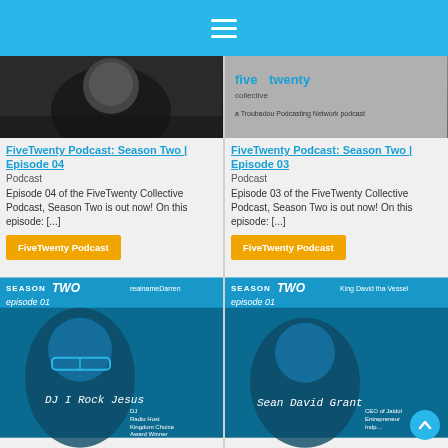≡
[Figure (screenshot): Black and white photo of a person, partially visible, dark background]
FiveTwenty Podcast: Season Two | Episode 04
Podcast
Episode 04 of the FiveTwenty Collective Podcast, Season Two is out now! On this episode: [...]
FiveTwenty Podcast
[Figure (screenshot): FiveTwenty Collective logo - Season Two, a Troubadou Podcasting Network podcast]
FiveTwenty Podcast: Season Two | Episode 03
Podcast
Episode 03 of the FiveTwenty Collective Podcast, Season Two is out now! On this episode: [...]
FiveTwenty Podcast
[Figure (screenshot): FiveTwenty Season Two Episode 01 - realnameDarren - DJ I Rock Jesus, Radio Host, Kingdom Choice, Award Winner]
[Figure (screenshot): FiveTwenty Season Two Episode 01 - King David tha Vessel - Sean David Grant, CEO of Jaidol, Entrepreneur, Indp]